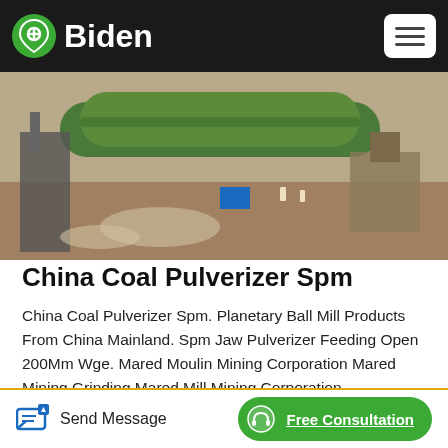Biden
[Figure (photo): Industrial mining site with large green cylindrical rotary drum equipment and workers in the background]
China Coal Pulverizer Spm
China Coal Pulverizer Spm. Planetary Ball Mill Products From China Mainland. Spm Jaw Pulverizer Feeding Open 200Mm Wge. Mared Moulin Mining Corporation Mared Mining Grinding,Mared Mill Mining Corporation Pangasinan Philippines.The Fineness Of The Coal Is
[Figure (photo): Partial thumbnail of industrial equipment with blue and red structures]
Send Message  Free Consultation